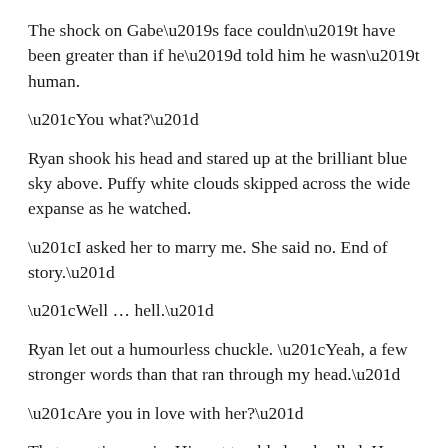The shock on Gabe’s face couldn’t have been greater than if he’d told him he wasn’t human.
“You what?”
Ryan shook his head and stared up at the brilliant blue sky above. Puffy white clouds skipped across the wide expanse as he watched.
“I asked her to marry me. She said no. End of story.”
“Well … hell.”
Ryan let out a humourless chuckle. “Yeah, a few stronger words than that ran through my head.”
“Are you in love with her?”
That question again. His gut tumbled and rolled. He wasn’t sure if the nausea was from worrying he’d lost his best friend, lost Darby, or both.
What are you talking about? You never had Darby to begin with. It was a bit of fun.
Wasn’t it?